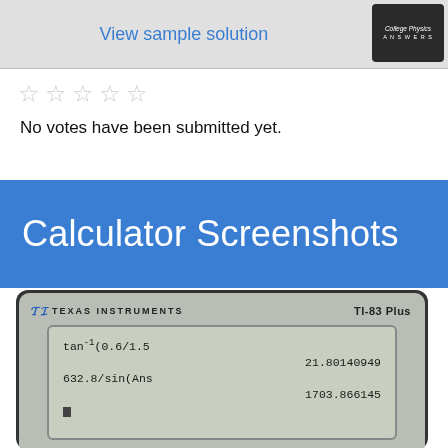[Figure (screenshot): View sample solution button with College Physics Answers logo on gray background]
[Figure (other): Five empty star rating icons]
No votes have been submitted yet.
Calculator Screenshots
[Figure (photo): TI-83 Plus calculator screen showing: tan^-1(0.6/1.5) = 21.80140949, 632.8/sin(Ans) = 1703.866145]